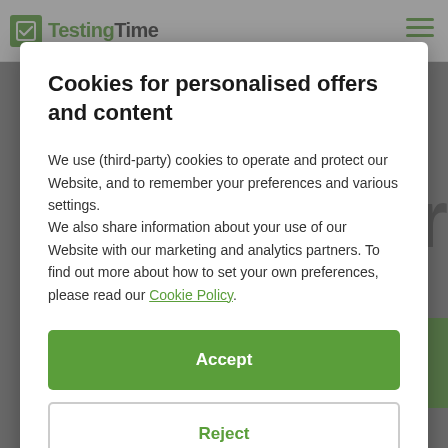[Figure (screenshot): Website background showing TestingTime logo and navigation bar, partially visible page content including large text 'er' and a green button, overlaid with semi-transparent gray overlay]
Cookies for personalised offers and content
We use (third-party) cookies to operate and protect our Website, and to remember your preferences and various settings.
We also share information about your use of our Website with our marketing and analytics partners. To find out more about how to set your own preferences, please read our Cookie Policy.
Accept
Reject